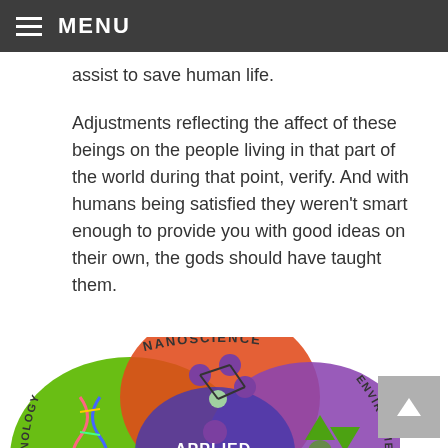≡ MENU
assist to save human life.
Adjustments reflecting the affect of these beings on the people living in that part of the world during that point, verify. And with humans being satisfied they weren't smart enough to provide you with good ideas on their own, the gods should have taught them.
[Figure (illustration): Overlapping circles diagram showing Applied Science at the center intersection of Nanoscience (red/orange circle, top), Biotechnology (green circle, left), and Environmental Science (purple circle, right), with molecular structure, DNA helix, and recycling symbol imagery.]